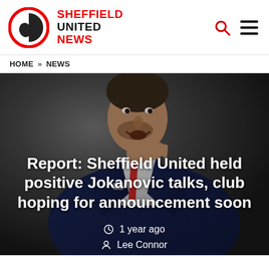SHEFFIELD UNITED NEWS
HOME » NEWS
[Figure (photo): A man in a dark navy suit holding his hand to his chin/mouth, appearing to be a football manager on a sideline, with a grey/dark blurred background]
Report: Sheffield United held positive Jokanovic talks, club hoping for announcement soon
1 year ago
Lee Connor